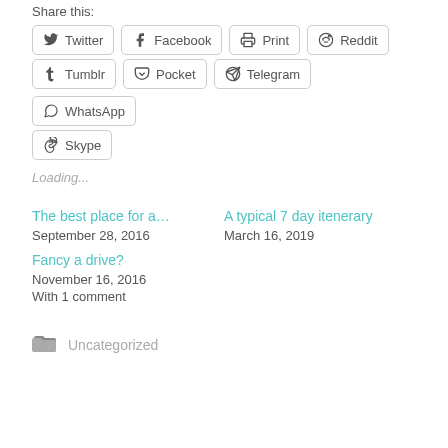Share this:
Twitter
Facebook
Print
Reddit
Tumblr
Pocket
Telegram
WhatsApp
Skype
Loading...
The best place for a...
September 28, 2016
A typical 7 day itenerary
March 16, 2019
Fancy a drive?
November 16, 2016
With 1 comment
Uncategorized